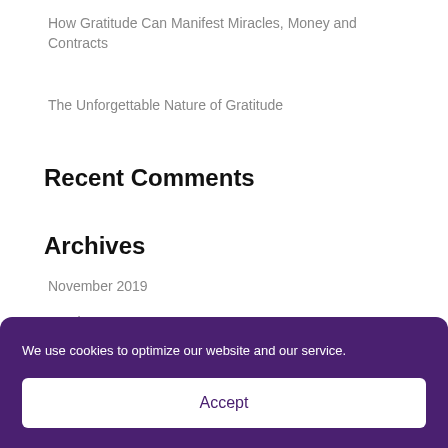How Gratitude Can Manifest Miracles, Money and Contracts
The Unforgettable Nature of Gratitude
Recent Comments
Archives
November 2019
October 2019
We use cookies to optimize our website and our service.
Accept